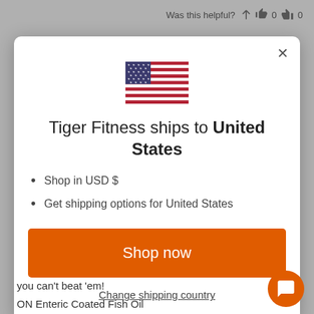Was this helpful? 👍 0 👎 0
[Figure (illustration): US flag emoji / SVG illustration centered in modal]
Tiger Fitness ships to United States
Shop in USD $
Get shipping options for United States
Shop now
Change shipping country
you can't beat 'em!
ON Enteric Coated Fish Oil